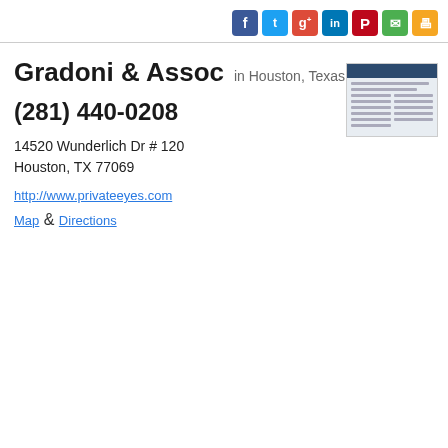[Figure (screenshot): Social media sharing icons: Facebook (blue), Twitter (light blue), Google+ (red), LinkedIn (blue), Pinterest (red), Email (green), Print (orange)]
Gradoni & Assoc in Houston, Texas
(281) 440-0208
14520 Wunderlich Dr # 120
Houston, TX 77069
http://www.privateeyes.com
Map & Directions
[Figure (screenshot): Thumbnail preview of the privateeyes.com website showing a dark blue header and text content below]